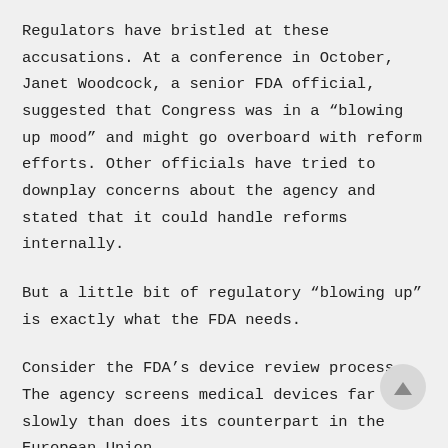Regulators have bristled at these accusations. At a conference in October, Janet Woodcock, a senior FDA official, suggested that Congress was in a “blowing up mood” and might go overboard with reform efforts. Other officials have tried to downplay concerns about the agency and stated that it could handle reforms internally.
But a little bit of regulatory “blowing up” is exactly what the FDA needs.
Consider the FDA’s device review process. The agency screens medical devices far more slowly than does its counterpart in the European Union.